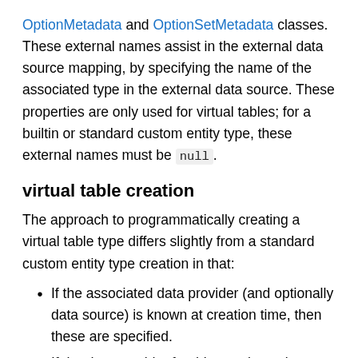OptionMetadata and OptionSetMetadata classes. These external names assist in the external data source mapping, by specifying the name of the associated type in the external data source. These properties are only used for virtual tables; for a builtin or standard custom entity type, these external names must be null.
virtual table creation
The approach to programmatically creating a virtual table type differs slightly from a standard custom entity type creation in that:
If the associated data provider (and optionally data source) is known at creation time, then these are specified.
If the data provider for this type is not known, then at minimum, DataProviderId is set to 7015A531-CC0D-